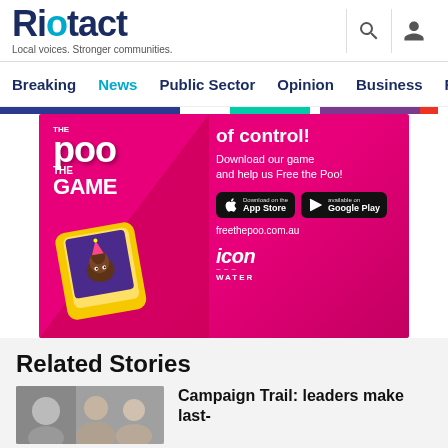Riotact — Local voices. Stronger communities.
Breaking  News  Public Sector  Opinion  Business  R
[Figure (photo): Advertisement banner for 'Free the Poo — The Game' by Icon Water, with pink/magenta background, game logo, cartoon poo emoji on a phone, App Store and Google Play download buttons, and freethepoo.com.au URL]
Related Stories
[Figure (photo): Thumbnail photo of people at an outdoor event]
Campaign Trail: leaders make last-